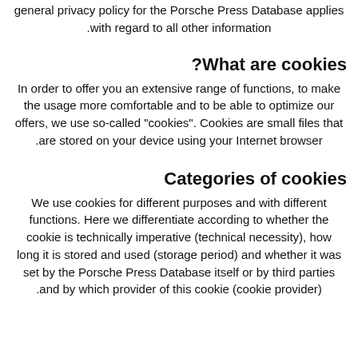general privacy policy for the Porsche Press Database applies with regard to all other information.
What are cookies?
In order to offer you an extensive range of functions, to make the usage more comfortable and to be able to optimize our offers, we use so-called "cookies". Cookies are small files that are stored on your device using your Internet browser.
Categories of cookies
We use cookies for different purposes and with different functions. Here we differentiate according to whether the cookie is technically imperative (technical necessity), how long it is stored and used (storage period) and whether it was set by the Porsche Press Database itself or by third parties and by which provider of this cookie (cookie provider).